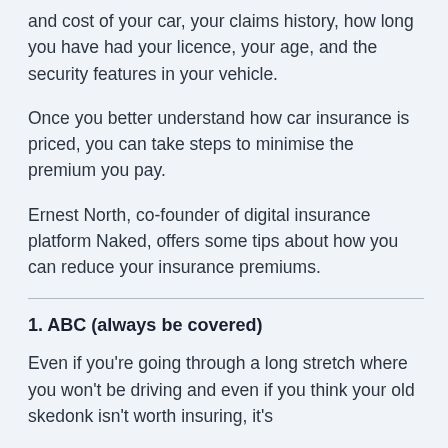and cost of your car, your claims history, how long you have had your licence, your age, and the security features in your vehicle.
Once you better understand how car insurance is priced, you can take steps to minimise the premium you pay.
Ernest North, co-founder of digital insurance platform Naked, offers some tips about how you can reduce your insurance premiums.
1. ABC (always be covered)
Even if you're going through a long stretch where you won't be driving and even if you think your old skedonk isn't worth insuring, it's